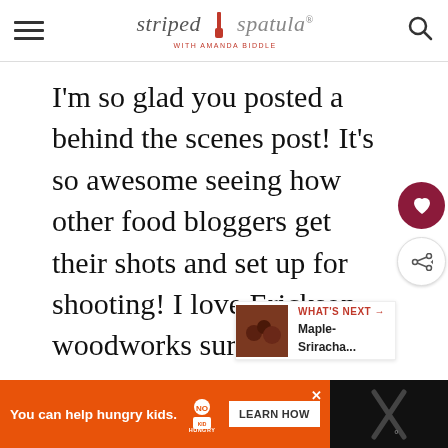striped spatula — with Amanda Biddle
I'm so glad you posted a behind the scenes post! It's so awesome seeing how other food bloggers get their shots and set up for shooting! I love Erickson woodworks surfaces too. I wish my shooting area was closer to my kitchen like yours! Instead I trek across the house to the guest bedroom and on the ironing board, lol!
WHAT'S NEXT → Maple-Sriracha...
You can help hungry kids. NO KID HUNGRY LEARN HOW